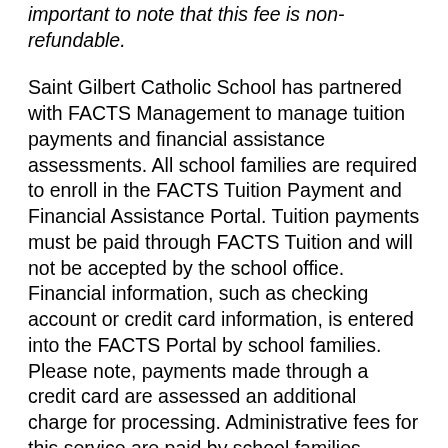important to note that this fee is non-refundable.
Saint Gilbert Catholic School has partnered with FACTS Management to manage tuition payments and financial assistance assessments. All school families are required to enroll in the FACTS Tuition Payment and Financial Assistance Portal. Tuition payments must be paid through FACTS Tuition and will not be accepted by the school office. Financial information, such as checking account or credit card information, is entered into the FACTS Portal by school families. Please note, payments made through a credit card are assessed an additional charge for processing. Administrative fees for this service are paid by school families.
There are a number of payment options to make tuition payments. The tuition